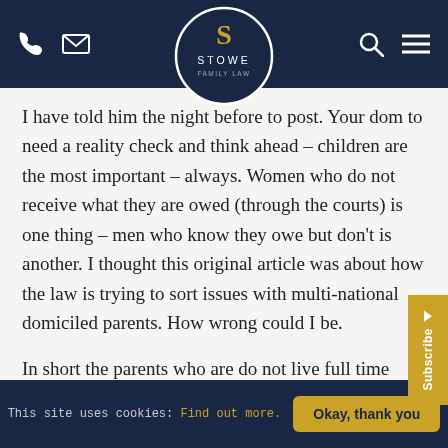Stowe Family Law — website header with phone, mail, search, and menu icons
I have told him the night before to post. Your dom to need a reality check and think ahead – children are the most important – always. Women who do not receive what they are owed (through the courts) is one thing – men who know they owe but don't is another. I thought this original article was about how the law is trying to sort issues with multi-national domiciled parents. How wrong could I be.
In short the parents who are do not live full time with the kids need to go back and think how they felt when their children were just days old – how many promises were made of
This site uses cookies: Find out more.  Okay, thank you